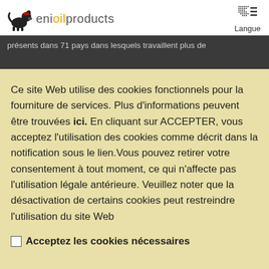eni oil products — Langue
présents dans 71 pays dans lesquels travaillent plus de
Ce site Web utilise des cookies fonctionnels pour la fourniture de services. Plus d'informations peuvent être trouvées ici. En cliquant sur ACCEPTER, vous acceptez l'utilisation des cookies comme décrit dans la notification sous le lien.Vous pouvez retirer votre consentement à tout moment, ce qui n'affecte pas l'utilisation légale antérieure. Veuillez noter que la désactivation de certains cookies peut restreindre l'utilisation du site Web
Acceptez les cookies nécessaires
Fermer